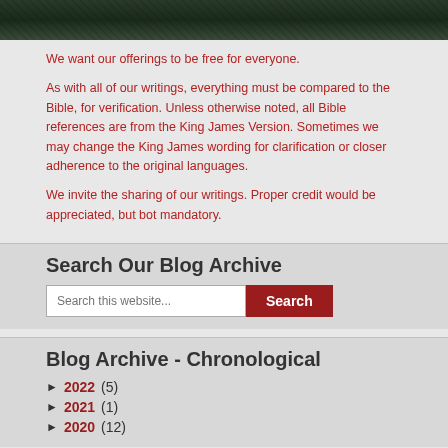[Figure (photo): Dark water/landscape photo at the top of the page]
We want our offerings to be free for everyone.
As with all of our writings, everything must be compared to the Bible, for verification. Unless otherwise noted, all Bible references are from the King James Version. Sometimes we may change the King James wording for clarification or closer adherence to the original languages.
We invite the sharing of our writings. Proper credit would be appreciated, but bot mandatory.
Search Our Blog Archive
Search this website...
Blog Archive - Chronological
► 2022 (5)
► 2021 (1)
► 2020 (12)